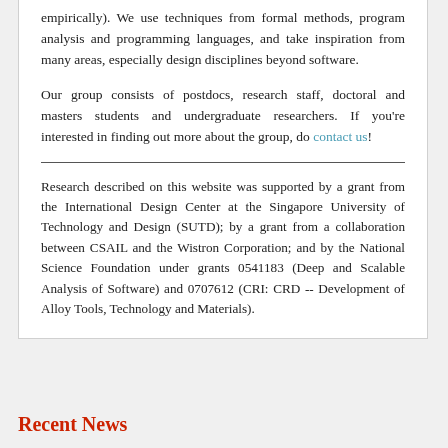empirically). We use techniques from formal methods, program analysis and programming languages, and take inspiration from many areas, especially design disciplines beyond software.
Our group consists of postdocs, research staff, doctoral and masters students and undergraduate researchers. If you're interested in finding out more about the group, do contact us!
Research described on this website was supported by a grant from the International Design Center at the Singapore University of Technology and Design (SUTD); by a grant from a collaboration between CSAIL and the Wistron Corporation; and by the National Science Foundation under grants 0541183 (Deep and Scalable Analysis of Software) and 0707612 (CRI: CRD -- Development of Alloy Tools, Technology and Materials).
Recent News